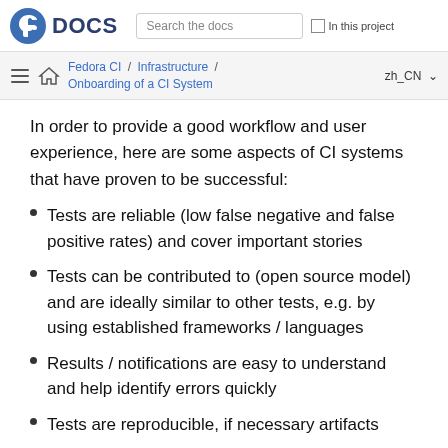Fedora DOCS | Search the docs | In this project
Fedora CI / Infrastructure / Onboarding of a CI System | zh_CN
In order to provide a good workflow and user experience, here are some aspects of CI systems that have proven to be successful:
Tests are reliable (low false negative and false positive rates) and cover important stories
Tests can be contributed to (open source model) and are ideally similar to other tests, e.g. by using established frameworks / languages
Results / notifications are easy to understand and help identify errors quickly
Tests are reproducible, if necessary artifacts